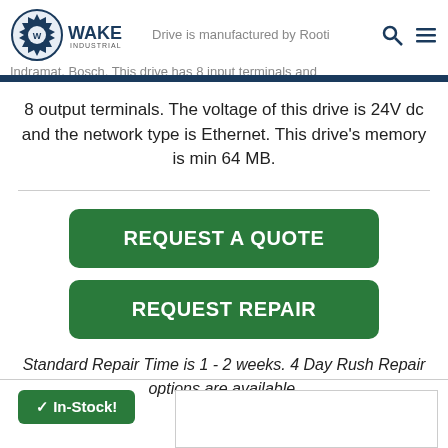Wake Industrial — Drive is manufactured by Rexroth Indramat, Bosch. This drive has 8 input terminals and
8 output terminals. The voltage of this drive is 24V dc and the network type is Ethernet. This drive's memory is min 64 MB.
REQUEST A QUOTE
REQUEST REPAIR
Standard Repair Time is 1 - 2 weeks. 4 Day Rush Repair options are available.
✓ In-Stock!